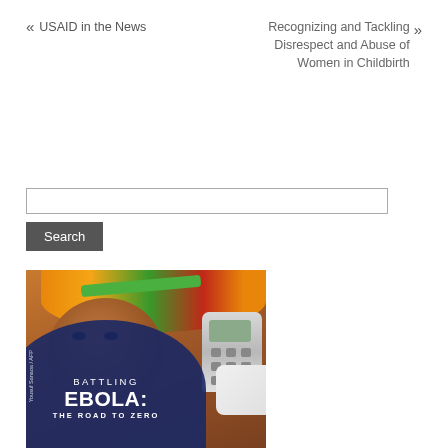« USAID in the News
Recognizing and Tackling Disrespect and Abuse of Women in Childbirth »
[Figure (photo): A woman wearing a colorful orange, green, and red headwrap having her temperature taken with an infrared thermometer, with text overlay reading 'BATTLING EBOLA: THE ROAD TO ZERO']